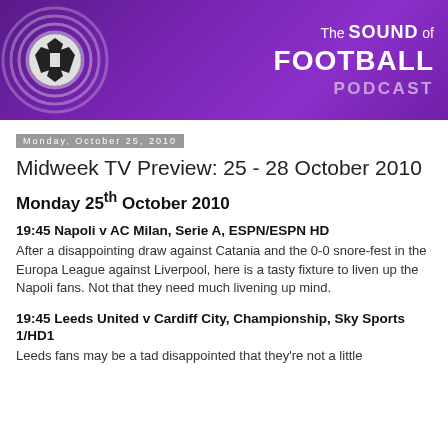[Figure (illustration): The Sound of Football Podcast banner header with purple gradient background, football with circular wave rings on the left, and white/light purple text on the right reading 'The SOUND of FOOTBALL PODCAST']
Monday, October 25, 2010
Midweek TV Preview: 25 - 28 October 2010
Monday 25th October 2010
19:45 Napoli v AC Milan, Serie A, ESPN/ESPN HD
After a disappointing draw against Catania and the 0-0 snore-fest in the Europa League against Liverpool, here is a tasty fixture to liven up the Napoli fans. Not that they need much livening up mind.
19:45 Leeds United v Cardiff City, Championship, Sky Sports 1/HD1
Leeds fans may be a tad disappointed that they're not a little...